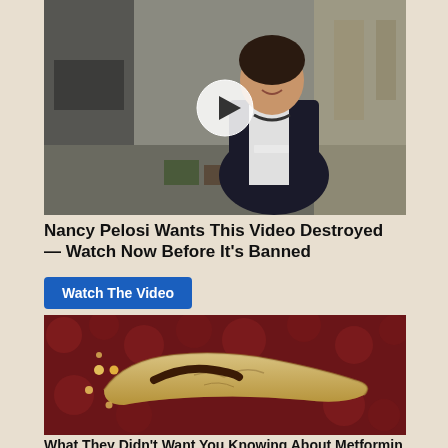[Figure (photo): A smiling woman in a dark jacket in a warehouse-like setting, with a video play button overlay]
Nancy Pelosi Wants This Video Destroyed — Watch Now Before It's Banned
Watch The Video
[Figure (photo): Close-up medical illustration of a pancreas surrounded by red blood cells and tissue]
What They Didn't Want You Knowing About Metformin